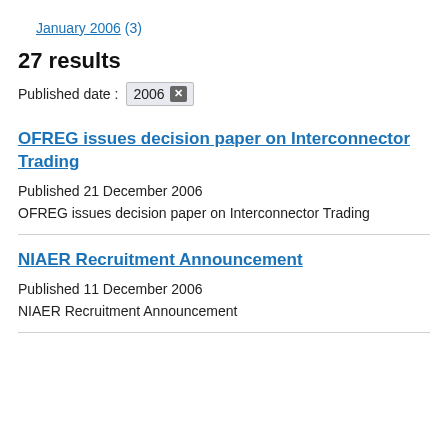January 2006 (3)
27 results
Published date : 2006 ×
OFREG issues decision paper on Interconnector Trading
Published 21 December 2006
OFREG issues decision paper on Interconnector Trading
NIAER Recruitment Announcement
Published 11 December 2006
NIAER Recruitment Announcement